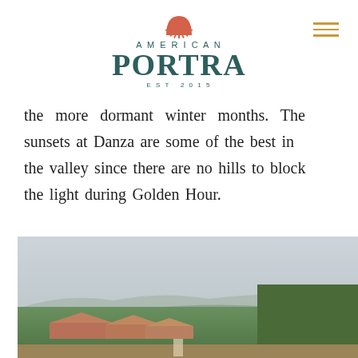AMERICAN PORTRA EST 2015
the more dormant winter months. The sunsets at Danza are some of the best in the valley since there are no hills to block the light during Golden Hour.
[Figure (photo): Outdoor landscape photograph showing a sunset view over a desert valley with palm trees, lush green trees, terracotta rooftops, and distant mountains under a pale hazy sky — taken from an elevated vantage point.]